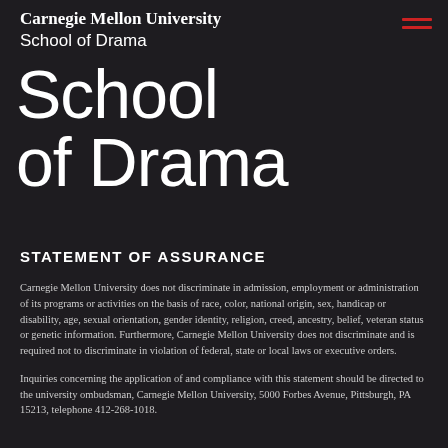Carnegie Mellon University
School of Drama
[Figure (other): Hamburger menu icon with three red horizontal lines]
School
of Drama
STATEMENT OF ASSURANCE
Carnegie Mellon University does not discriminate in admission, employment or administration of its programs or activities on the basis of race, color, national origin, sex, handicap or disability, age, sexual orientation, gender identity, religion, creed, ancestry, belief, veteran status or genetic information. Furthermore, Carnegie Mellon University does not discriminate and is required not to discriminate in violation of federal, state or local laws or executive orders.
Inquiries concerning the application of and compliance with this statement should be directed to the university ombudsman, Carnegie Mellon University, 5000 Forbes Avenue, Pittsburgh, PA 15213, telephone 412-268-1018.